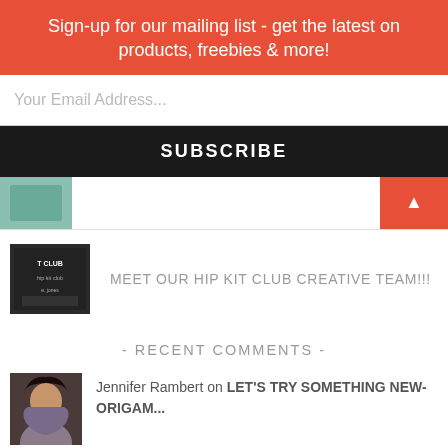Sign-up for our mailing list - get the latest on products, freebies & more!
Your Email Address...
SUBSCRIBE
[Figure (photo): Thumbnail image on left side]
[Figure (logo): Hip Kit Club creative team logo/image with text]
MEET OUR HIP KIT CLUB CREATIVE TEAM!!!
- RECENT COMMENTS -
[Figure (photo): Avatar of Jennifer Rambert]
Jennifer Rambert on LET'S TRY SOMETHING NEW-ORIGAM...
[Figure (photo): Avatar of Nelya - teal pattern]
Nelya on LET'S TRY SOMETHING NEW-ORIGAM...
[Figure (photo): Avatar of Kelly Made It]
Kelly Made It on LET'S USE CUT FILES